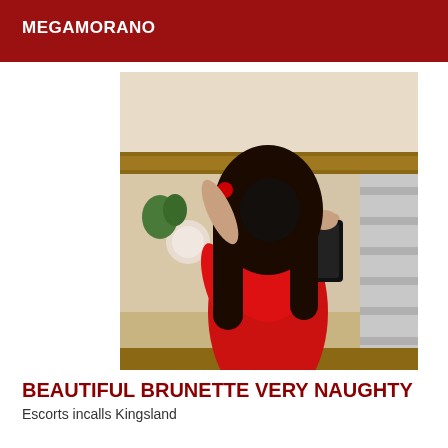MEGAMORANO
[Figure (photo): Woman in red dress taking a mirror selfie with a smartphone, with long dark hair obscuring her face]
BEAUTIFUL BRUNETTE VERY NAUGHTY
Escorts incalls Kingsland